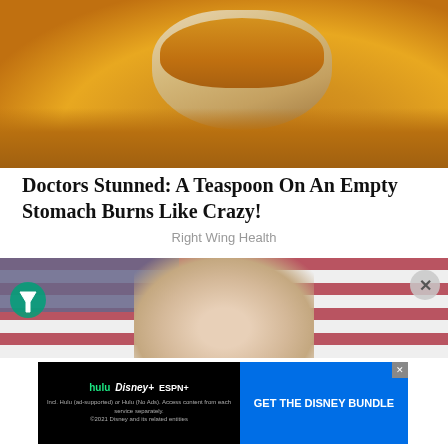[Figure (photo): A wooden bowl filled with golden-yellow spice powder (possibly turmeric or mustard seed powder), surrounded by scattered spice on a white surface.]
Doctors Stunned: A Teaspoon On An Empty Stomach Burns Like Crazy!
Right Wing Health
[Figure (photo): A partially visible person with gray/white hair in front of an American flag background, with ad overlay icons.]
[Figure (other): Advertisement banner: hulu, Disney+, ESPN+. GET THE DISNEY BUNDLE. Incl. Hulu (ad-supported) or Hulu (No Ads). Access content from each service separately. ©2021 Disney and its related entities]